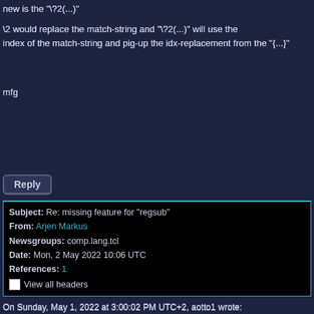new is the "\?2(...)"
\2 would replace the match-string and "\?2(...)" will use the index of the match-string and pig-up the idx-replacement from the "{...}"
mfg
Reply
| Subject: Re: missing feature for "regsub" |
| From: Arjen Markus |
| Newsgroups: comp.lang.tcl |
| Date: Mon, 2 May 2022 10:06 UTC |
| References: 1 |
| ☐ View all headers |
On Sunday, May 1, 2022 at 3:00:02 PM UTC+2, aotto1 wrote:
Hi,
I don't know if the TCL community is the right place to post a Regular-Expression (RG) enhancement, but let me try :-)
problem: howto put MULTIPLE "regsub" statements into ONE single (probably more efficient) together.
lets start with "string map..."
| string map { old1 new1 old2 new2 ... } STRING
ONE command is doing MULTIPLE replacement.